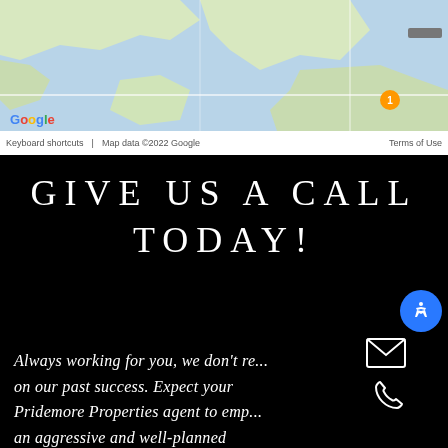[Figure (map): Google Maps screenshot showing a geographic area with water bodies and roads]
GIVE US A CALL TODAY!
Always working for you, we don't re... on our past success. Expect your Pridemore Properties agent to emp... an aggressive and well-planned marketing strategy to get you to the closing table – fast. Start your home